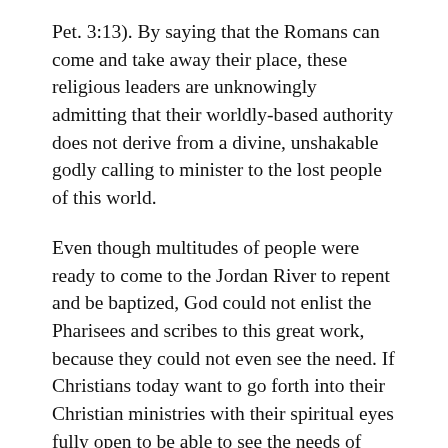Pet. 3:13).  By saying that the Romans can come and take away their place, these religious leaders are unknowingly admitting that their worldly-based authority does not derive from a divine, unshakable godly calling to minister to the lost people of this world.
Even though multitudes of people were ready to come to the Jordan River to repent and be baptized, God could not enlist the Pharisees and scribes to this great work, because they could not even see the need.  If Christians today want to go forth into their Christian ministries with their spiritual eyes fully open to be able to see the needs of others, the road of preparation that leads there is the lowly way of the cross.